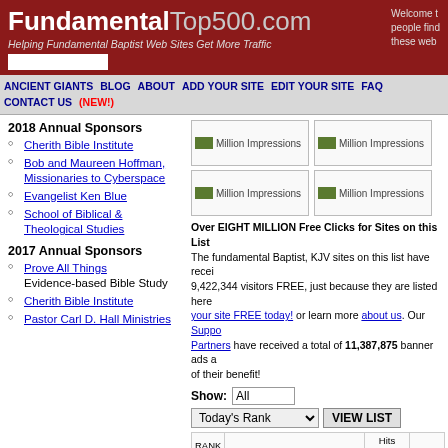FundamentalTop500.com — Helping Fundamental Baptist Web Sites Get More Traffic
ANCIENT GIANTS  BLOG  ABOUT  ADD YOUR SITE  EDIT YOUR SITE  FAQ  CONTACT US (NEW!)
2018 Annual Sponsors
Cherith Bible Institute
Bob and Maureen Hoffman, Missionaries to Cyberspace
Evangelist Ken Blue
School of Biblical & Theological Studies
2017 Annual Sponsors
Prove All Things Evidence-based Bible Study
Cherith Bible Institute
Pastor Carl D. Hall Ministries
[Figure (other): Four banner ad placeholders labeled Million Impressions]
Over EIGHT MILLION Free Clicks for Sites on this List! The fundamental Baptist, KJV sites on this list have received 9,422,344 visitors FREE, just because they are listed here. Add your site FREE today! or learn more about us. Our Support Partners have received a total of 11,387,875 banner ads all of their benefit!
| RANK |  | Hits Today |  |
| --- | --- | --- | --- |
| 1 | The Sermon Notebook 4.67 stars | 10726 | 14 |
| 2 | Jesus Christ is the Only Way to Heaven! | 1230 | 18 |
| 3 | The | 461 | 40 |